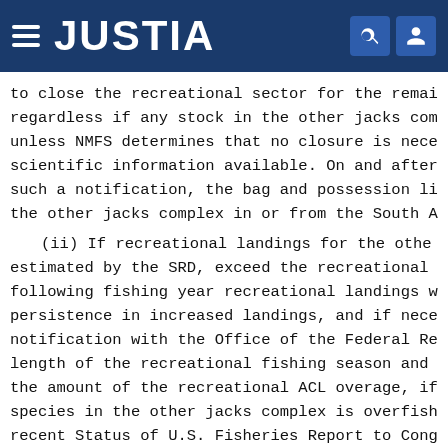JUSTIA
to close the recreational sector for the remaining regardless if any stock in the other jacks com unless NMFS determines that no closure is nece scientific information available. On and after such a notification, the bag and possession li the other jacks complex in or from the South A
(ii) If recreational landings for the othe estimated by the SRD, exceed the recreational following fishing year recreational landings w persistence in increased landings, and if nece notification with the Office of the Federal Re length of the recreational fishing season and the amount of the recreational ACL overage, if species in the other jacks complex is overfish recent Status of U.S. Fisheries Report to Cong commercial and recreational ACL of 457,221 lb